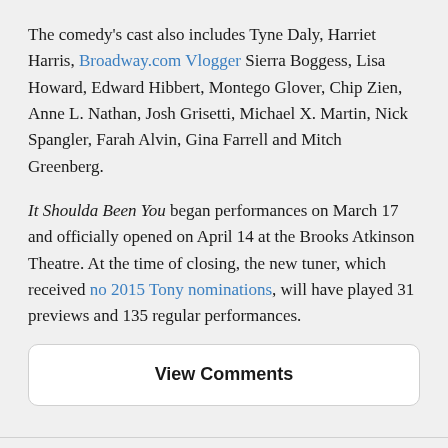The comedy's cast also includes Tyne Daly, Harriet Harris, Broadway.com Vlogger Sierra Boggess, Lisa Howard, Edward Hibbert, Montego Glover, Chip Zien, Anne L. Nathan, Josh Grisetti, Michael X. Martin, Nick Spangler, Farah Alvin, Gina Farrell and Mitch Greenberg.
It Shoulda Been You began performances on March 17 and officially opened on April 14 at the Brooks Atkinson Theatre. At the time of closing, the new tuner, which received no 2015 Tony nominations, will have played 31 previews and 135 regular performances.
View Comments